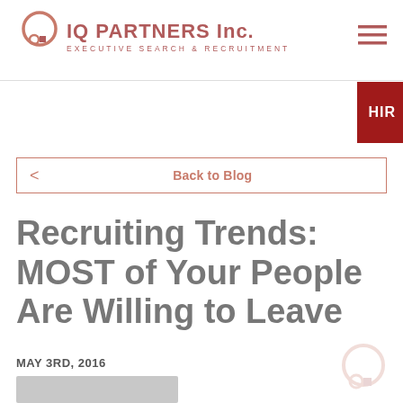IQ PARTNERS Inc. EXECUTIVE SEARCH & RECRUITMENT
HIR
< Back to Blog
Recruiting Trends: MOST of Your People Are Willing to Leave
MAY 3RD, 2016
[Figure (photo): Author headshot photo partially visible at bottom of page]